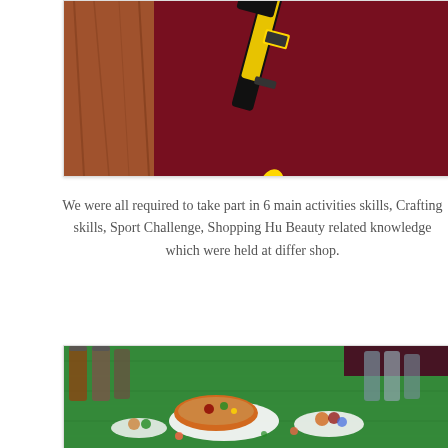[Figure (photo): Close-up photo of a yellow and black hammer against a dark maroon/burgundy background with a wooden surface visible on the left side]
We were all required to take part in 6 main activities skills, Crafting skills, Sport Challenge, Shopping Hu Beauty related knowledge which were held at differ shop.
[Figure (photo): Photo of food items including pastries and small appetizers arranged on a green grass-like surface, with bottles visible in the background]